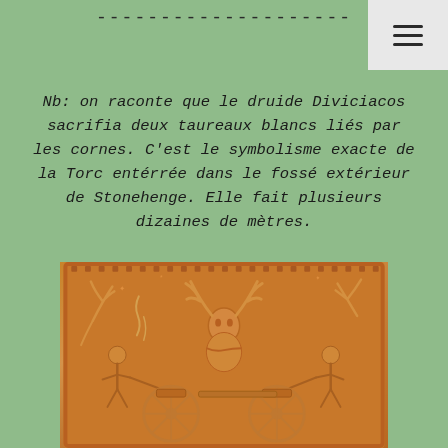--------------------
Nb: on raconte que le druide Diviciacos sacrifia deux taureaux blancs liés par les cornes. C'est le symbolisme exacte de la Torc entérrée dans le fossé extérieur de Stonehenge. Elle fait plusieurs dizaines de mètres.
[Figure (photo): Ancient Celtic/Gaulish bronze or clay relief carving depicting a horned deity (Cernunnos) seated in the center with antlers, flanked by two figures pulling wheeled vehicles/chariots, with decorative foliage and star motifs throughout]